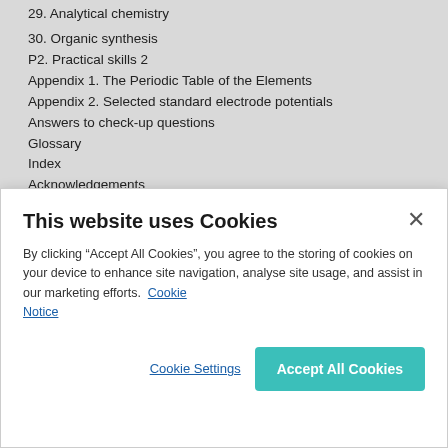29. Analytical chemistry
30. Organic synthesis
P2. Practical skills 2
Appendix 1. The Periodic Table of the Elements
Appendix 2. Selected standard electrode potentials
Answers to check-up questions
Glossary
Index
Acknowledgements
Terms and conditions of use for the CD-ROM.
OTHER TITLES IN THIS SERIES
This website uses Cookies
By clicking “Accept All Cookies”, you agree to the storing of cookies on your device to enhance site navigation, analyse site usage, and assist in our marketing efforts. Cookie Notice
Cookie Settings  Accept All Cookies